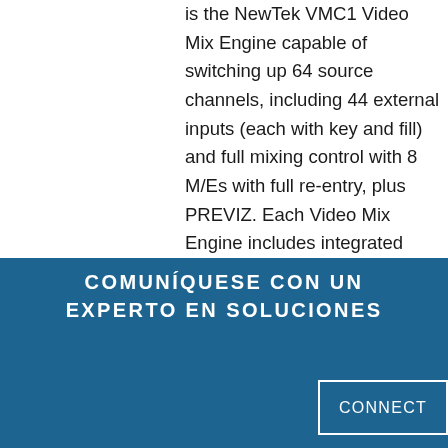is the NewTek VMC1 Video Mix Engine capable of switching up 64 source channels, including 44 external inputs (each with key and fill) and full mixing control with 8 M/Es with full re-entry, plus PREVIZ. Each Video Mix Engine includes integrated compositing, a sophisticated macro
COMUNÍQUESE CON UN EXPERTO EN SOLUCIONES
CONNECT